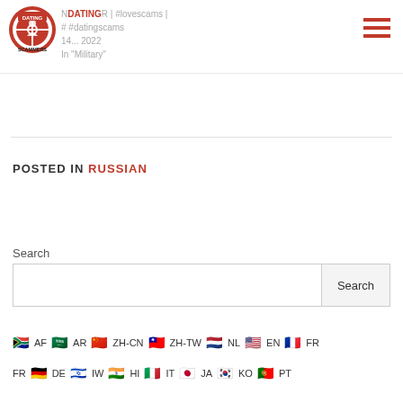N... R | #lovescams | #... #datingscams
14... 2022
In "Military"
POSTED IN RUSSIAN
Search
AF AR ZH-CN ZH-TW NL EN FR DE IW HI IT JA KO PT